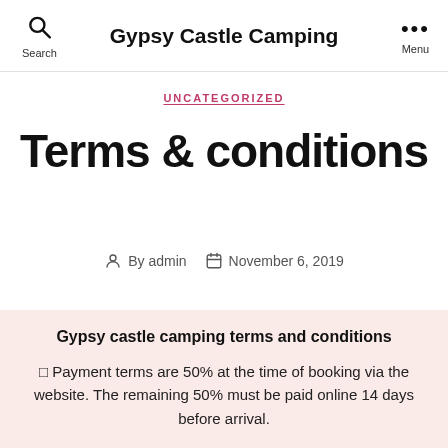Gypsy Castle Camping
UNCATEGORIZED
Terms & conditions
By admin  November 6, 2019
Gypsy castle camping terms and conditions
☐ Payment terms are 50% at the time of booking via the website. The remaining 50% must be paid online 14 days before arrival.